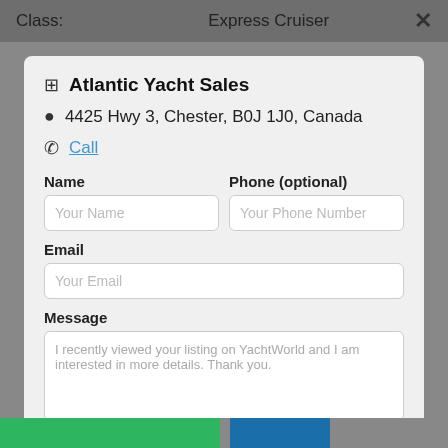Class:    Express Cruiser    ×
Atlantic Yacht Sales
4425 Hwy 3, Chester, B0J 1J0, Canada
Call
Name
Phone (optional)
Email
Message
I recently viewed your listing on YachtWorld and I am interested in more details. Thank you.
Contact Broker